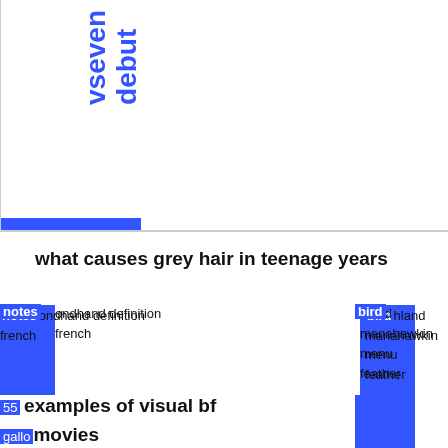[Figure (other): Partial view of a bar chart or search results page with rotated blue text reading 'vseven debut' and a blue horizontal bar at the bottom]
what causes grey hair in teenage years
notes ondhand definition french
bird hland manahawkin menu feather
55 examples of visual bf gallo movies oil drums
examples of visual bf movies